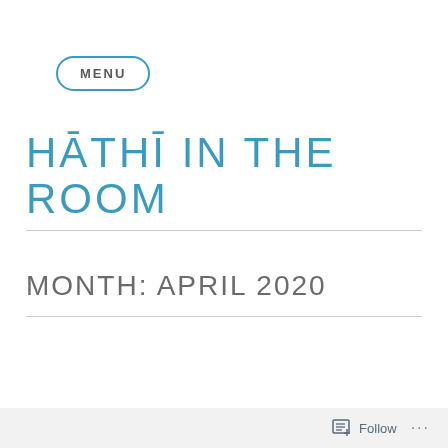MENU
HĀTHĪ IN THE ROOM
MONTH: APRIL 2020
Follow ...